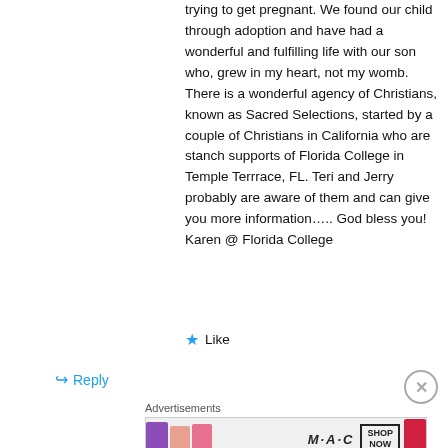trying to get pregnant. We found our child through adoption and have had a wonderful and fulfilling life with our son who, grew in my heart, not my womb. There is a wonderful agency of Christians, known as Sacred Selections, started by a couple of Christians in California who are stanch supports of Florida College in Temple Terrrace, FL. Teri and Jerry probably are aware of them and can give you more information….. God bless you!
Karen @ Florida College
★ Like
↪ Reply
[Figure (other): MAC Cosmetics advertisement banner showing lipsticks in purple, peach, pink, and red colors with MAC logo and SHOP NOW button]